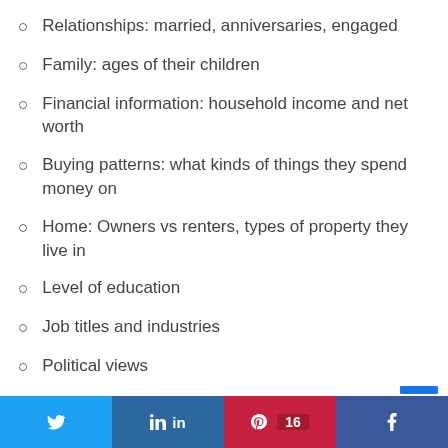Relationships: married, anniversaries, engaged
Family: ages of their children
Financial information: household income and net worth
Buying patterns: what kinds of things they spend money on
Home: Owners vs renters, types of property they live in
Level of education
Job titles and industries
Political views
Twitter | in LinkedIn | Pinterest 16 | Facebook